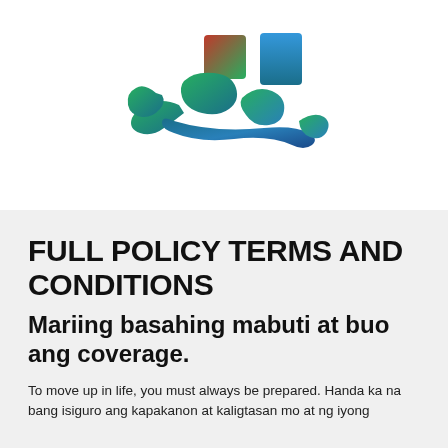[Figure (logo): Colorful abstract logo with green leaf/organic shapes and colored rectangular blocks (red, green, teal/blue gradient)]
FULL POLICY TERMS AND CONDITIONS
Mariing basahing mabuti at buo ang coverage.
To move up in life, you must always be prepared. Handa ka na bang isiguro ang kapakanon at kaligtasan mo at ng iyong...